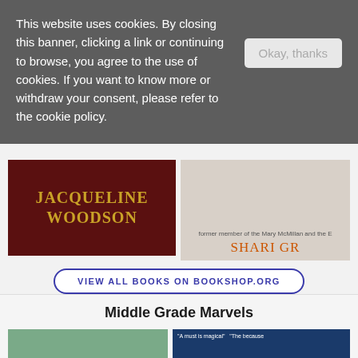This website uses cookies. By closing this banner, clicking a link or continuing to browse, you agree to the use of cookies. If you want to know more or withdraw your consent, please refer to the cookie policy.
Okay, thanks
[Figure (photo): Book cover showing 'Jacqueline Woodson' in gold text on dark red/brown background]
[Figure (photo): Book cover partially visible showing 'Shari Gr' in orange text on light background]
VIEW ALL BOOKS ON BOOKSHOP.ORG
Middle Grade Marvels
[Figure (photo): Book cover with green/teal background, partially visible]
[Figure (photo): Book cover with dark blue background, partially visible with white text quotes]